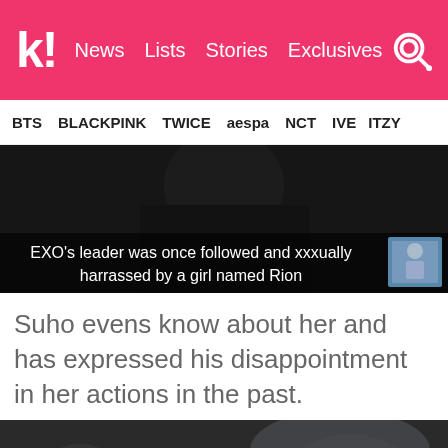k! News Lists Stories Exclusives
BTS BLACKPINK TWICE aespa NCT IVE ITZY
[Figure (screenshot): Video screenshot with text overlay: EXO's leader was once followed and xxxually harrassed by a girl named Rion, with a small thumbnail image in bottom right corner]
Suho evens know about her and has expressed his disappointment in her actions in the past.
[Figure (screenshot): Video player screenshot showing crowded scene with people, with a white play button triangle in the center]